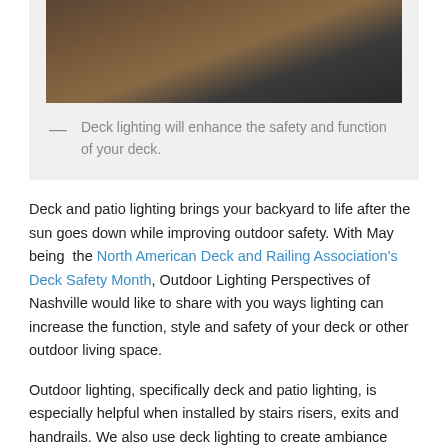[Figure (photo): Photograph of a wooden deck with stone surround, showing warm-toned timber boards and decorative rocks in an outdoor setting.]
— Deck lighting will enhance the safety and function of your deck.
Deck and patio lighting brings your backyard to life after the sun goes down while improving outdoor safety. With May being the North American Deck and Railing Association's Deck Safety Month, Outdoor Lighting Perspectives of Nashville would like to share with you ways lighting can increase the function, style and safety of your deck or other outdoor living space.
Outdoor lighting, specifically deck and patio lighting, is especially helpful when installed by stairs risers, exits and handrails. We also use deck lighting to create ambiance within areas that are being used in the evening. For example, pillar lights help define perimeters and look amazing when mounted directly onto brick and